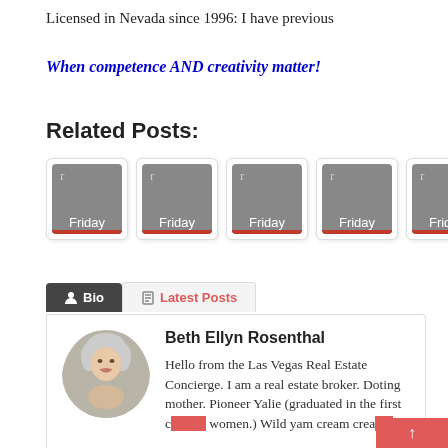Licensed in Nevada since 1996: I have previous
When competence AND creativity matter!
Related Posts:
[Figure (illustration): Five thumbnail images each showing a grey placeholder with letter 'r' and label 'Friday' with a red underline bar]
[Figure (photo): Author bio section with photo of Beth Ellyn Rosenthal, tabs for Bio and Latest Posts, and bio text]
Beth Ellyn Rosenthal
Hello from the Las Vegas Real Estate Concierge. I am a real estate broker. Doting mother. Pioneer Yalie (graduated in the first class of women.) Wild yam cream creator.